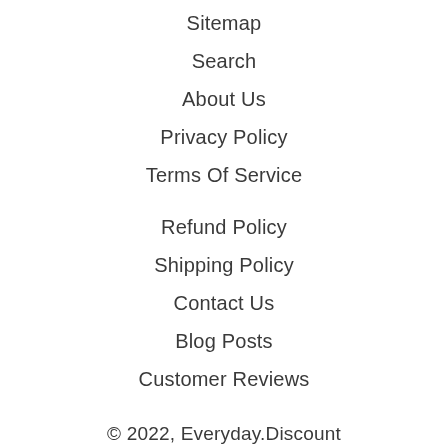Sitemap
Search
About Us
Privacy Policy
Terms Of Service
Refund Policy
Shipping Policy
Contact Us
Blog Posts
Customer Reviews
© 2022, Everyday.Discount